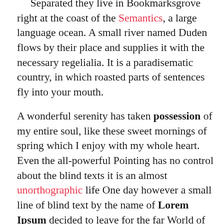Separated they live in Bookmarksgrove right at the coast of the Semantics, a large language ocean. A small river named Duden flows by their place and supplies it with the necessary regelialia. It is a paradisematic country, in which roasted parts of sentences fly into your mouth.
A wonderful serenity has taken possession of my entire soul, like these sweet mornings of spring which I enjoy with my whole heart. Even the all-powerful Pointing has no control about the blind texts it is an almost unorthographic life One day however a small line of blind text by the name of Lorem Ipsum decided to leave for the far World of Grammar. The Big Oxmox advised her not to do so, because there were thousands of bad Commas, wild Question Marks and devious Semikoli, but the Little Blind Text didn't listen.
On her way she met a copy. The copy warned the Little Blind Text, that where it came from it would have been rewritten a thousand times and everything that was left from its origin